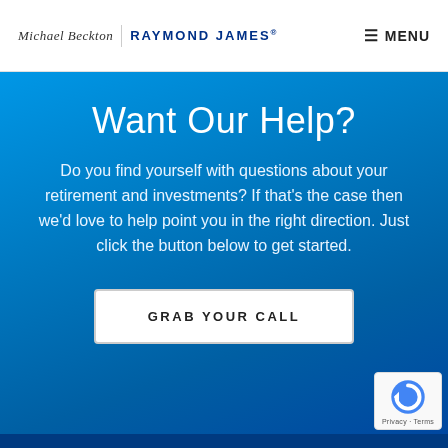Michael Beckton | RAYMOND JAMES® — MENU
Want Our Help?
Do you find yourself with questions about your retirement and investments? If that's the case then we'd love to help point you in the right direction. Just click the button below to get started.
GRAB YOUR CALL
[Figure (logo): reCAPTCHA badge with Privacy and Terms text]